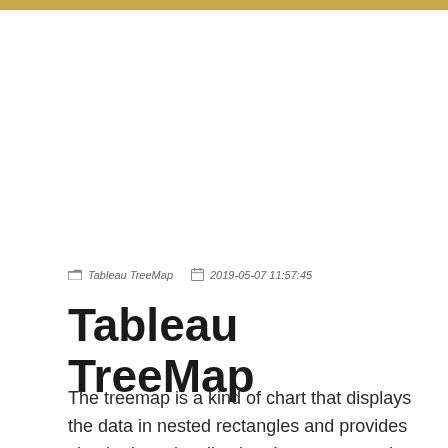Tableau TreeMap  2019-05-07 11:57:45
Tableau TreeMap
The treemap is a kind of chart that displays the data in nested rectangles and provides simple data visualization. In a treemap, the values of the